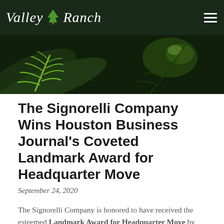Valley Ranch
[Figure (photo): Hero banner image showing green fern leaves against a dark background, with a stylized bright green fern graphic on the left side.]
The Signorelli Company Wins Houston Business Journal's Coveted Landmark Award for Headquarter Move
September 24, 2020
The Signorelli Company is honored to have received the esteemed Landmark Award for Headquarter Move by the Houston Business Journal.  The award recognizes impressive real estate projects making a significant impact on the